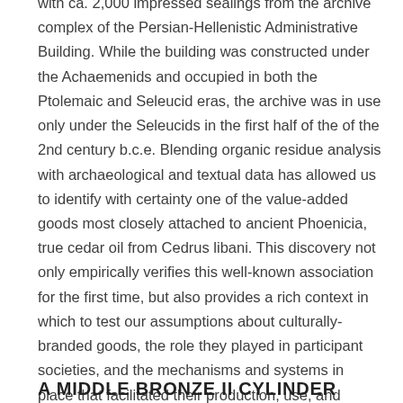with ca. 2,000 impressed sealings from the archive complex of the Persian-Hellenistic Administrative Building. While the building was constructed under the Achaemenids and occupied in both the Ptolemaic and Seleucid eras, the archive was in use only under the Seleucids in the first half of the of the 2nd century b.c.e. Blending organic residue analysis with archaeological and textual data has allowed us to identify with certainty one of the value-added goods most closely attached to ancient Phoenicia, true cedar oil from Cedrus libani. This discovery not only empirically verifies this well-known association for the first time, but also provides a rich context in which to test our assumptions about culturally-branded goods, the role they played in participant societies, and the mechanisms and systems in place that facilitated their production, use, and export.
A MIDDLE BRONZE II CYLINDER